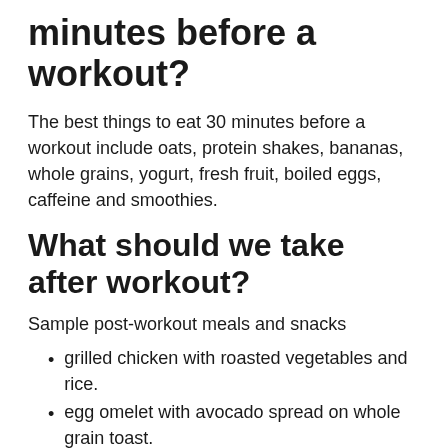minutes before a workout?
The best things to eat 30 minutes before a workout include oats, protein shakes, bananas, whole grains, yogurt, fresh fruit, boiled eggs, caffeine and smoothies.
What should we take after workout?
Sample post-workout meals and snacks
grilled chicken with roasted vegetables and rice.
egg omelet with avocado spread on whole grain toast.
salmon with sweet potato.